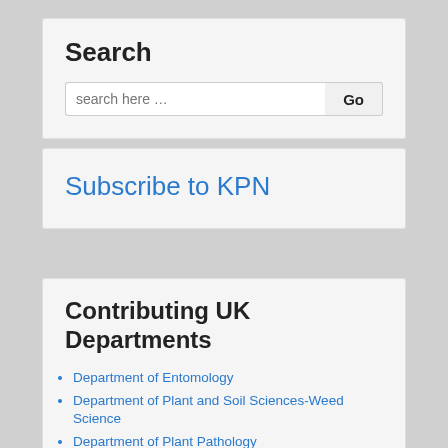Search
[Figure (screenshot): Search input box with placeholder 'search here …' and a 'Go' button]
Subscribe to KPN
Contributing UK Departments
Department of Entomology
Department of Plant and Soil Sciences-Weed Science
Department of Plant Pathology